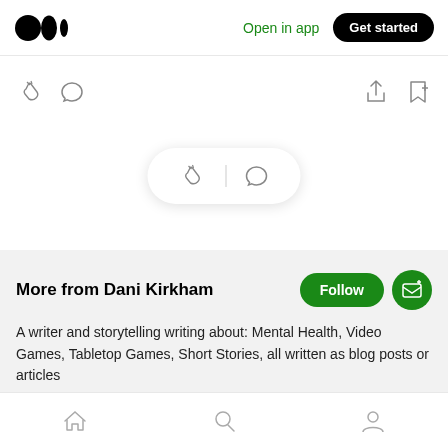[Figure (screenshot): Medium app logo (three dots: two filled circles and a bar)]
Open in app
Get started
[Figure (infographic): Action icons: clap, comment on left; share, bookmark-plus on right]
[Figure (infographic): Floating pill with clap and comment icons separated by a vertical divider]
More from Dani Kirkham
A writer and storytelling writing about: Mental Health, Video Games, Tabletop Games, Short Stories, all written as blog posts or articles
[Figure (infographic): Bottom navigation bar with home, search, and profile icons]